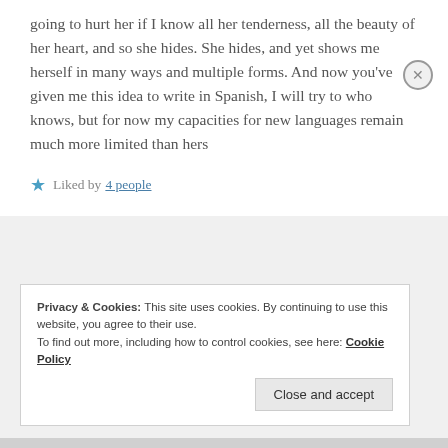going to hurt her if I know all her tenderness, all the beauty of her heart, and so she hides. She hides, and yet shows me herself in many ways and multiple forms. And now you've given me this idea to write in Spanish, I will try to who knows, but for now my capacities for new languages remain much more limited than hers
★ Liked by 4 people
Privacy & Cookies: This site uses cookies. By continuing to use this website, you agree to their use.
To find out more, including how to control cookies, see here: Cookie Policy
Close and accept